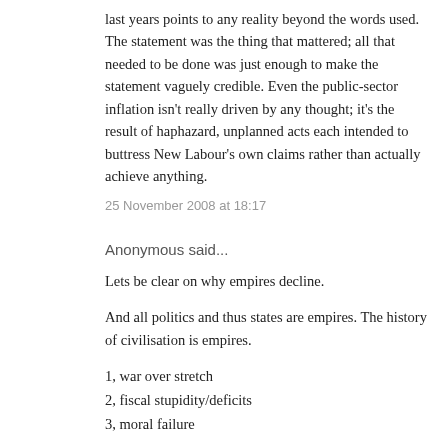last years points to any reality beyond the words used. The statement was the thing that mattered; all that needed to be done was just enough to make the statement vaguely credible. Even the public-sector inflation isn't really driven by any thought; it's the result of haphazard, unplanned acts each intended to buttress New Labour's own claims rather than actually achieve anything.
25 November 2008 at 18:17
Anonymous said...
Lets be clear on why empires decline.
And all politics and thus states are empires. The history of civilisation is empires.
1, war over stretch
2, fiscal stupidity/deficits
3, moral failure
and there is another one that the historians miss. I cannot of hand remember his name, but...